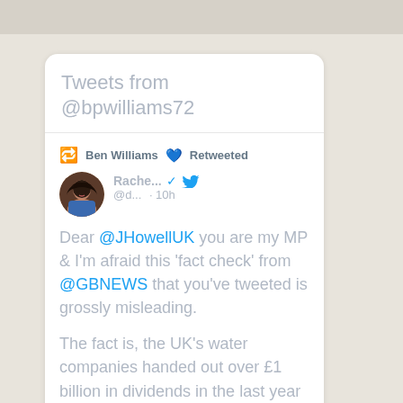[Figure (screenshot): A Twitter/social media widget screenshot showing a tweet from Ben Williams retweeted, with original tweet by Rache... @d... 10h ago. Text reads: Dear @JHowellUK you are my MP & I'm afraid this 'fact check' from @GBNEWS that you've tweeted is grossly misleading. The fact is, the UK's water companies handed out over £1 billion in dividends in the last year alone.]